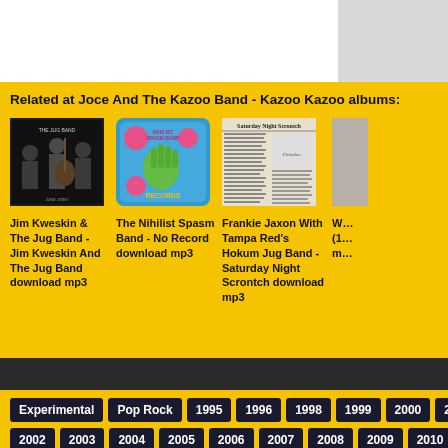Related at Joce And The Kazoo Band - Kazoo Kazoo albums:
[Figure (photo): Jim Kweskin & The Jug Band album cover - group of musicians in black and white photo]
Jim Kweskin & The Jug Band - Jim Kweskin And The Jug Band download mp3
[Figure (photo): The Nihilist Spasm Band - No Record album cover with blue background and pink circles]
The Nihilist Spasm Band - No Record download mp3
[Figure (photo): Frankie Jaxon With Tampa Red's Hokum Jug Band - Saturday Night Scrontch newspaper-style album cover]
Frankie Jaxon With Tampa Red's Hokum Jug Band - Saturday Night Scrontch download mp3
Experimental
Pop Rock
1995
1996
1998
1999
2000
2001
2002
2003
2004
2005
2006
2007
2008
2009
2010